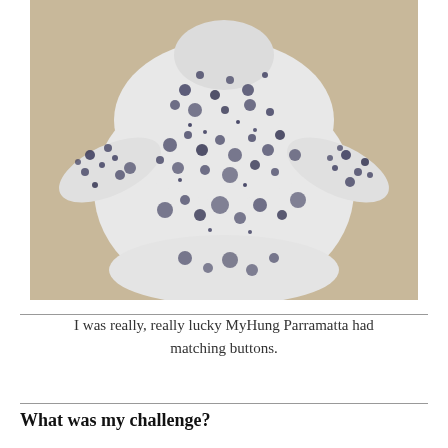[Figure (photo): A white blouse/shirt with dark navy blue floral/splatter print pattern, laid flat on a beige/tan surface. The shirt has long sleeves and appears to be a women's garment.]
I was really, really lucky MyHung Parramatta had matching buttons.
What was my challenge?